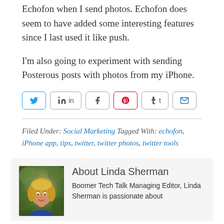Echofon when I send photos. Echofon does seem to have added some interesting features since I last used it like push.
I'm also going to experiment with sending Posterous posts with photos from my iPhone.
[Figure (other): Social share buttons: Twitter, LinkedIn, Facebook, Pinterest, Tumblr, Email]
Filed Under: Social Marketing Tagged With: echofon, iPhone app, tips, twitter, twitter photos, twitter tools
About Linda Sherman
Boomer Tech Talk Managing Editor, Linda Sherman is passionate about